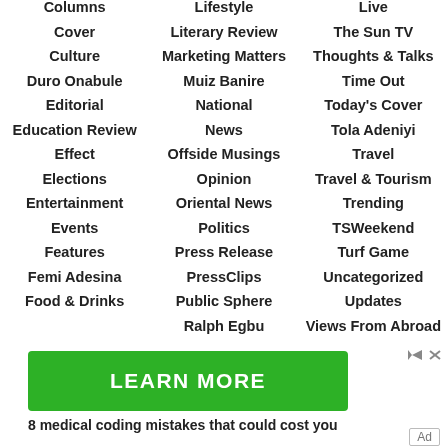Lifestyle
Columns
Live
Literary Review
Cover
The Sun TV
Marketing Matters
Culture
Thoughts & Talks
Muiz Banire
Duro Onabule
Time Out
National
Editorial
Today's Cover
News
Education Review
Tola Adeniyi
Offside Musings
Effect
Travel
Opinion
Elections
Travel & Tourism
Oriental News
Entertainment
Trending
Politics
Events
TSWeekend
Press Release
Features
Turf Game
PressClips
Femi Adesina
Uncategorized
Public Sphere
Food & Drinks
Updates
Ralph Egbu
Views From Abroad
[Figure (other): Green LEARN MORE advertisement button with ad icons and text '8 medical coding mistakes that could cost you']
Ad